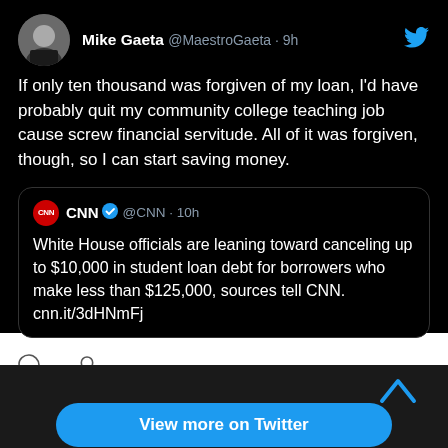[Figure (screenshot): Screenshot of a Twitter/social media post by Mike Gaeta (@MaestroGaeta, 9h) on a dark background. The tweet reads: 'If only ten thousand was forgiven of my loan, I'd have probably quit my community college teaching job cause screw financial servitude. All of it was forgiven, though, so I can start saving money.' Below is a quoted tweet from CNN (@CNN, verified, 10h): 'White House officials are leaning toward canceling up to $10,000 in student loan debt for borrowers who make less than $125,000, sources tell CNN. cnn.it/3dHNmFj'. At the bottom is a 'View more on Twitter' button and 'Learn more about privacy on Twitter' text.]